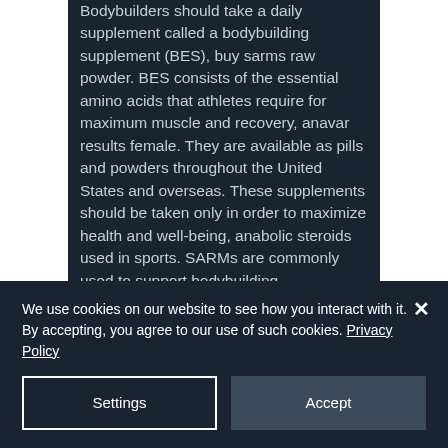Bodybuilders should take a daily supplement called a bodybuilding supplement (BES), buy sarms raw powder. BES consists of the essential amino acids that athletes require for maximum muscle and recovery, anavar results female. They are available as pills and powders throughout the United States and overseas. These supplements should be taken only in order to maximize health and well-being, anabolic steroids used in sports. SARMs are commonly used to support bodybuilding competitions, training sessions and competitions. Muscle Health Supplements: This kind of supplement consists of the compounds that are essential
We use cookies on our website to see how you interact with it. By accepting, you agree to our use of such cookies. Privacy Policy
Settings
Accept